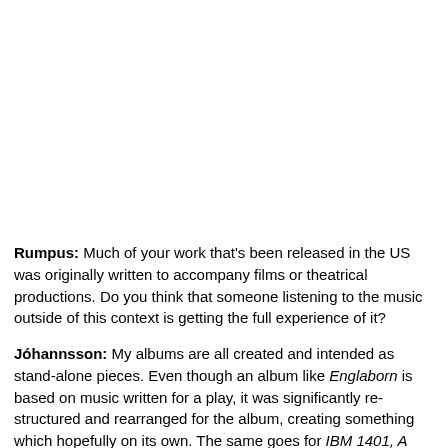Rumpus: Much of your work that's been released in the US was originally written to accompany films or theatrical productions. Do you think that someone listening to the music outside of this context is getting the full experience of it?
Jóhannsson: My albums are all created and intended as stand-alone pieces. Even though an album like Englaborn is based on music written for a play, it was significantly re-structured and rearranged for the album, creating something which hopefully on its own. The same goes for IBM 1401, A User's Manual, w was written for a dancer, but always intended as a standalone piece